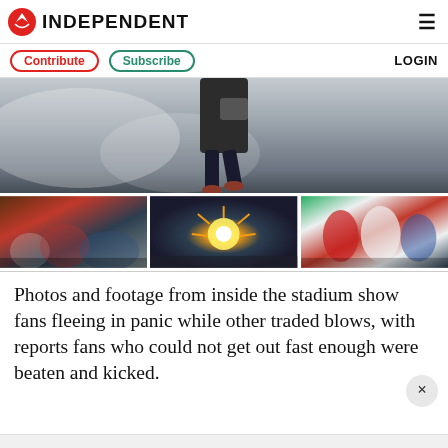INDEPENDENT
Contribute  Subscribe  LOGIN
[Figure (photo): Person running or jumping, seen from below against a cloudy sky background]
[Figure (photo): Three photos side by side: left - crowd of shirtless fans, center - fireworks/flares in crowd, right - fans in confrontation]
Photos and footage from inside the stadium show fans fleeing in panic while other traded blows, with reports fans who could not get out fast enough were beaten and kicked.